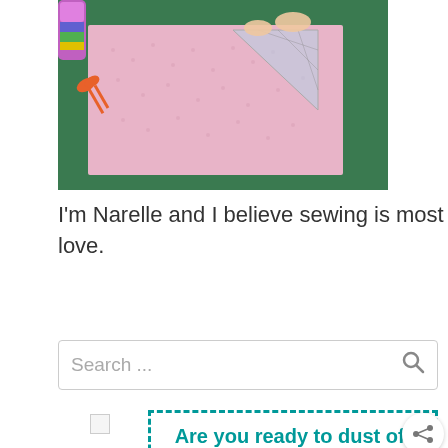[Figure (photo): Person cutting pink fabric on a green cutting mat with orange scissors and a clear ruler]
I'm Narelle and I believe sewing is most rewarding when you learn by sewing what you love.
Search ...
Are you ready to dust off your sewing machine and get sewing?